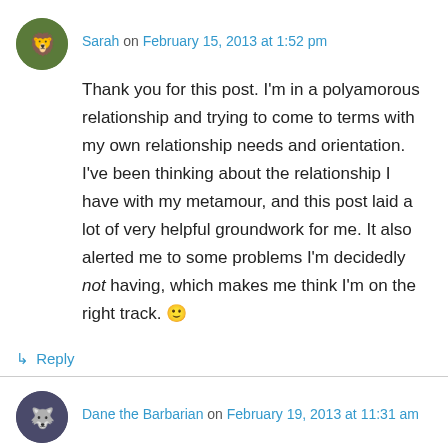Sarah on February 15, 2013 at 1:52 pm
Thank you for this post. I'm in a polyamorous relationship and trying to come to terms with my own relationship needs and orientation. I've been thinking about the relationship I have with my metamour, and this post laid a lot of very helpful groundwork for me. It also alerted me to some problems I'm decidedly not having, which makes me think I'm on the right track. 🙂
↳ Reply
Dane the Barbarian on February 19, 2013 at 11:31 am
Another great piece. You operationalize in the